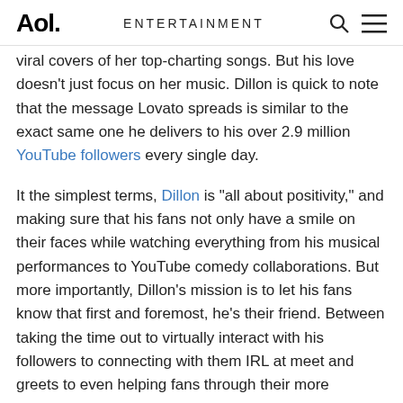Aol. | ENTERTAINMENT
viral covers of her top-charting songs. But his love doesn't just focus on her music. Dillon is quick to note that the message Lovato spreads is similar to the exact same one he delivers to his over 2.9 million YouTube followers every single day.
It the simplest terms, Dillon is "all about positivity," and making sure that his fans not only have a smile on their faces while watching everything from his musical performances to YouTube comedy collaborations. But more importantly, Dillon's mission is to let his fans know that first and foremost, he's their friend. Between taking the time out to virtually interact with his followers to connecting with them IRL at meet and greets to even helping fans through their more emotional moments like coming out, Dillon makes sure that everything he does